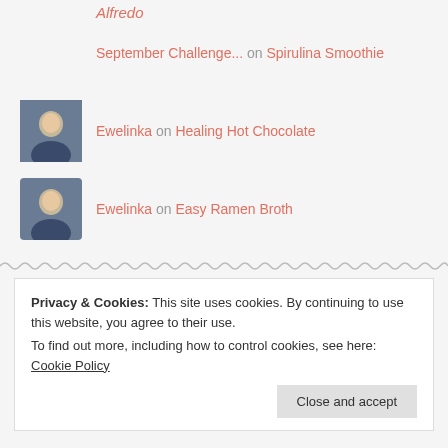Alfredo
September Challenge... on Spirulina Smoothie
Ewelinka on Healing Hot Chocolate
Ewelinka on Easy Ramen Broth
Privacy & Cookies: This site uses cookies. By continuing to use this website, you agree to their use. To find out more, including how to control cookies, see here: Cookie Policy
Close and accept